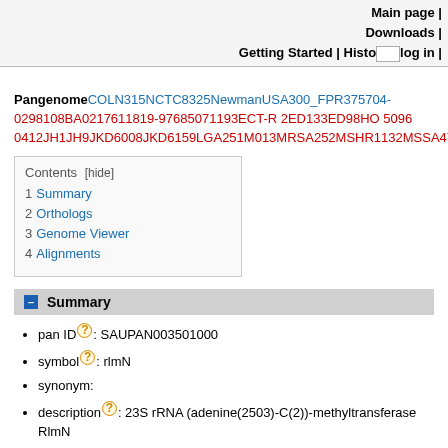Main page | Downloads | Getting Started | History | log in |
Pangenome COLN315NCTC8325NewmanUSA300_FPR375704-0298108BA0217611819-97685071193ECT-R 2ED133ED98HO 5096 0412JH1JH9JKD6008JKD6159LGA251M013MRSA252MSHR1132MSSA47
Contents [hide]
1 Summary
2 Orthologs
3 Genome Viewer
4 Alignments
Summary
pan ID?: SAUPAN003501000
symbol?: rlmN
synonym:
description?: 23S rRNA (adenine(2503)-C(2))-methyltransferase RlmN
description of content below representation